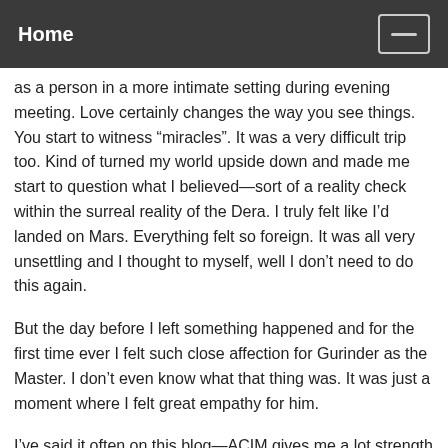Home
as a person in a more intimate setting during evening meeting. Love certainly changes the way you see things. You start to witness “miracles”. It was a very difficult trip too. Kind of turned my world upside down and made me start to question what I believed—sort of a reality check within the surreal reality of the Dera. I truly felt like I’d landed on Mars. Everything felt so foreign. It was all very unsettling and I thought to myself, well I don’t need to do this again.
But the day before I left something happened and for the first time ever I felt such close affection for Gurinder as the Master. I don’t even know what that thing was. It was just a moment where I felt great empathy for him.
I’ve said it often on this blog—ACIM gives me a lot strength and encouragement. I’m somewhat new to it and the text is over 1,200 pages but oddly enough you can sum up all of those pages into a sentence: Everything around you is created by your perception and you should always try to look on every being in God’s creation